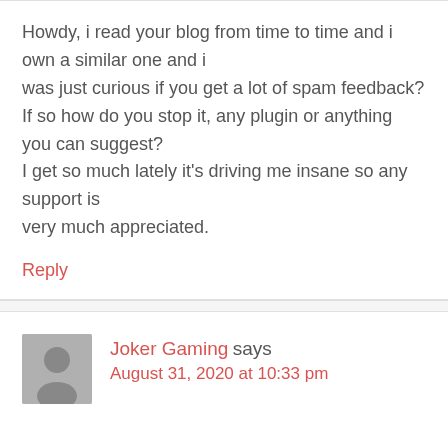Howdy, i read your blog from time to time and i own a similar one and i was just curious if you get a lot of spam feedback? If so how do you stop it, any plugin or anything you can suggest? I get so much lately it's driving me insane so any support is very much appreciated.
Reply
Joker Gaming says
August 31, 2020 at 10:33 pm